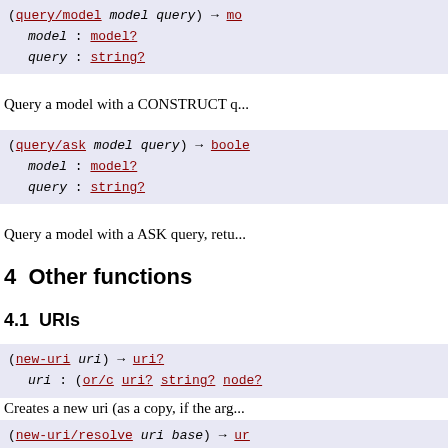(query/model model query) → mo...   model : model?   query : string?
Query a model with a CONSTRUCT q...
(query/ask model query) → boole...   model : model?   query : string?
Query a model with a ASK query, retu...
4  Other functions
4.1  URIs
(new-uri uri) → uri?   uri : (or/c uri? string? node?...
Creates a new uri (as a copy, if the arg...
(new-uri/resolve uri base) → ur...   uri : (or/c uri? string? node?...